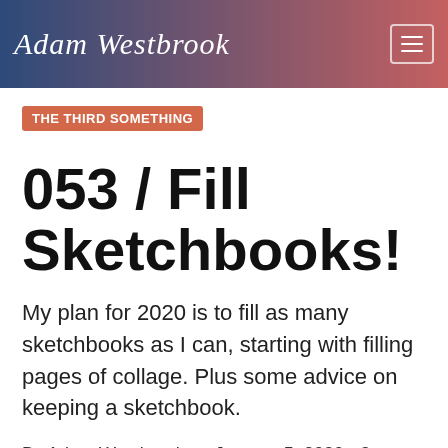Adam Westbrook
THE THIRD SOMETHING
053 / Fill Sketchbooks!
My plan for 2020 is to fill as many sketchbooks as I can, starting with filling pages of collage. Plus some advice on keeping a sketchbook.
By Adam Westbrook on January 5, 2020 • 3 minute read